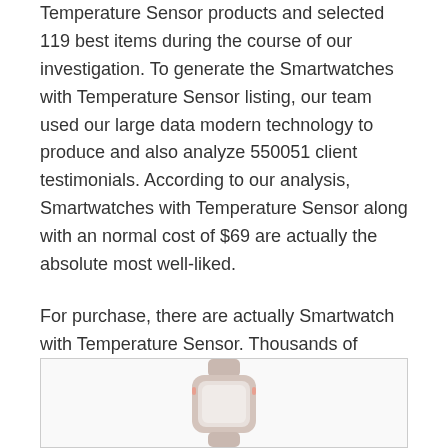Temperature Sensor products and selected 119 best items during the course of our investigation. To generate the Smartwatches with Temperature Sensor listing, our team used our large data modern technology to produce and also analyze 550051 client testimonials. According to our analysis, Smartwatches with Temperature Sensor along with an normal cost of $69 are actually the absolute most well-liked.
For purchase, there are actually Smartwatch with Temperature Sensor. Thousands of brands have actually been examined, as well as the top Smartwatches with Temperature Sensor labels have been chosen.
Related Posts:
[Figure (photo): A smartwatch displayed in a rounded rectangular card/box, partially visible at the bottom of the page.]